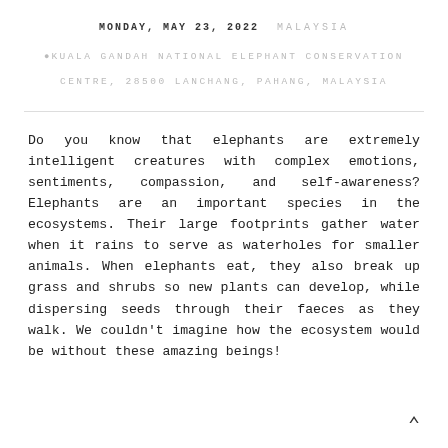MONDAY, MAY 23, 2022   MALAYSIA
KUALA GANDAH NATIONAL ELEPHANT CONSERVATION CENTRE, 28500 LANCHANG, PAHANG, MALAYSIA
Do you know that elephants are extremely intelligent creatures with complex emotions, sentiments, compassion, and self-awareness? Elephants are an important species in the ecosystems. Their large footprints gather water when it rains to serve as waterholes for smaller animals. When elephants eat, they also break up grass and shrubs so new plants can develop, while dispersing seeds through their faeces as they walk. We couldn't imagine how the ecosystem would be without these amazing beings!